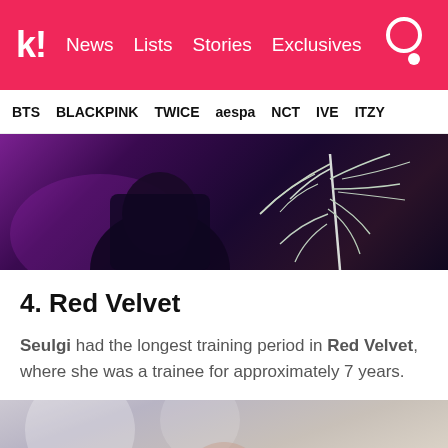k! News Lists Stories Exclusives
BTS BLACKPINK TWICE aespa NCT IVE ITZY
[Figure (photo): Dark stage performance photo with purple lighting and white feathered plant decoration]
4. Red Velvet
Seulgi had the longest training period in Red Velvet, where she was a trainee for approximately 7 years.
[Figure (photo): Close-up portrait photo of a person with dark hair against a light blurred background]